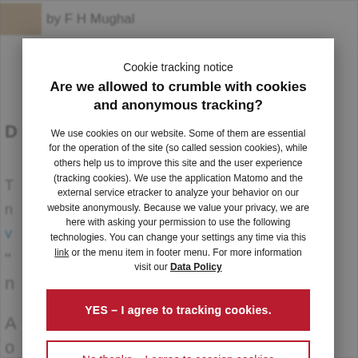[Figure (screenshot): Background webpage content showing author byline 'by F H Mughal' with a small photo, and partially visible article text behind a modal overlay.]
Cookie tracking notice
Are we allowed to crumble with cookies and anonymous tracking?
We use cookies on our website. Some of them are essential for the operation of the site (so called session cookies), while others help us to improve this site and the user experience (tracking cookies). We use the application Matomo and the external service etracker to analyze your behavior on our website anonymously. Because we value your privacy, we are here with asking your permission to use the following technologies. You can change your settings any time via this link or the menu item in footer menu. For more information visit our Data Policy
YES – I agree to tracking cookies.
No thanks – I agree to session cookies